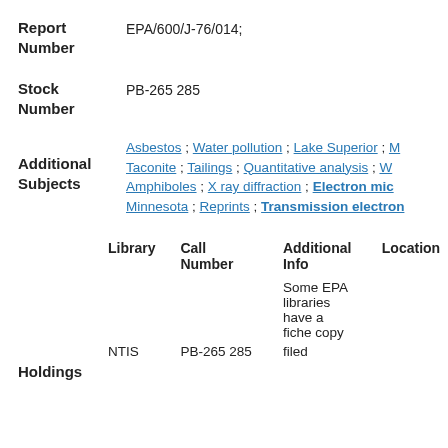Report Number: EPA/600/J-76/014;
Stock Number: PB-265 285
Additional Subjects: Asbestos ; Water pollution ; Lake Superior ; Taconite ; Tailings ; Quantitative analysis ; W... Amphiboles ; X ray diffraction ; Electron mic... Minnesota ; Reprints ; Transmission electron...
| Library | Call Number | Additional Info | Location |
| --- | --- | --- | --- |
|  |  | Some EPA libraries have a fiche copy |  |
| NTIS | PB-265 285 | filed |  |